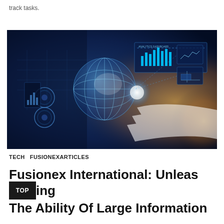track tasks.
[Figure (photo): A person interacting with a futuristic digital holographic interface showing globe, charts, and data dashboards, with blue and golden lighting.]
TECH   FUSIONEXARTICLES
Fusionex International: Unleashing The Ability Of Large Information